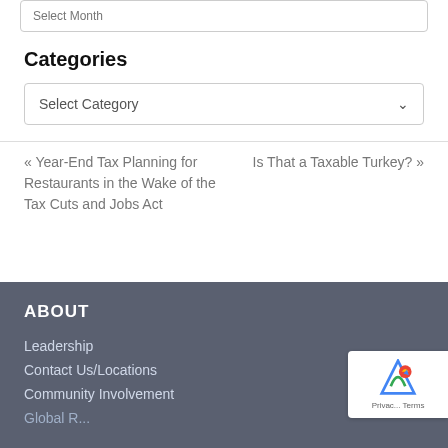Select Month
Categories
Select Category
« Year-End Tax Planning for Restaurants in the Wake of the Tax Cuts and Jobs Act
Is That a Taxable Turkey? »
ABOUT
Leadership
Contact Us/Locations
Community Involvement
Global R...